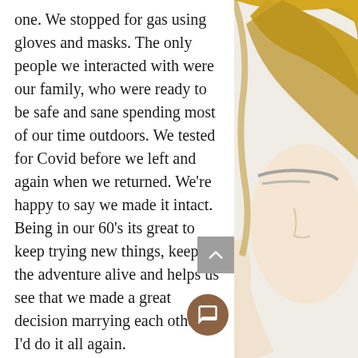one. We stopped for gas using gloves and masks. The only people we interacted with were our family, who were ready to be safe and sane spending most of our time outdoors. We tested for Covid before we left and again when we returned. We're happy to say we made it intact. Being in our 60's its great to keep trying new things, keeps the adventure alive and helps us see that we made a great decision marrying each other. I'd do it all again.
If you've enjoyed reading this "FEATURED BLOG" please consider making a donation to  help us continue amplifying more diverse women's stories.
[Figure (illustration): Partial illustration of a woman's face and hair in muted gold and grey tones, visible on the right side of the page]